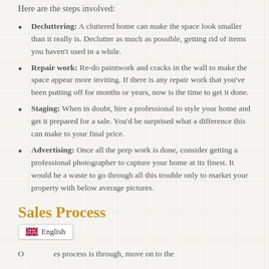Here are the steps involved:
Decluttering: A cluttered home can make the space look smaller than it really is. Declutter as much as possible, getting rid of items you haven't used in a while.
Repair work: Re-do paintwork and cracks in the wall to make the space appear more inviting. If there is any repair work that you've been putting off for months or years, now is the time to get it done.
Staging: When in doubt, hire a professional to style your home and get it prepared for a sale. You'd be surprised what a difference this can make to your final price.
Advertising: Once all the prep work is done, consider getting a professional photographer to capture your home at its finest. It would be a waste to go through all this trouble only to market your property with below average pictures.
Sales Process
English
O... es process is through, move on to the